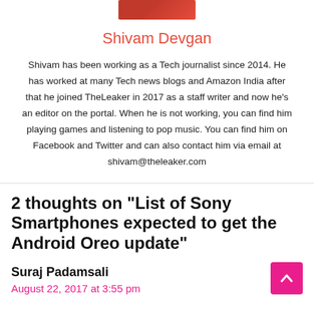[Figure (photo): Profile photo of Shivam Devgan, partially visible at top, showing person in red clothing]
Shivam Devgan
Shivam has been working as a Tech journalist since 2014. He has worked at many Tech news blogs and Amazon India after that he joined TheLeaker in 2017 as a staff writer and now he's an editor on the portal. When he is not working, you can find him playing games and listening to pop music. You can find him on Facebook and Twitter and can also contact him via email at shivam@theleaker.com
2 thoughts on “List of Sony Smartphones expected to get the Android Oreo update”
Suraj Padamsali
August 22, 2017 at 3:55 pm